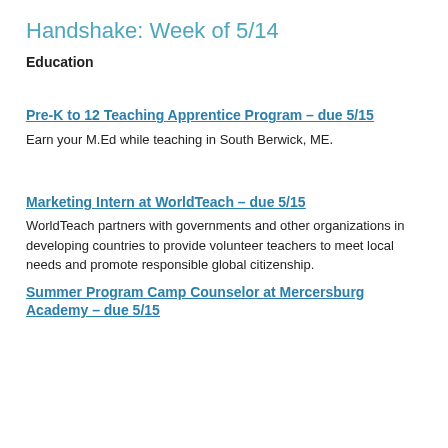Handshake: Week of 5/14
Education
Pre-K to 12 Teaching Apprentice Program – due 5/15
Earn your M.Ed while teaching in South Berwick, ME.
Marketing Intern at WorldTeach – due 5/15
WorldTeach partners with governments and other organizations in developing countries to provide volunteer teachers to meet local needs and promote responsible global citizenship.
Summer Program Camp Counselor at Mercersburg Academy – due 5/15